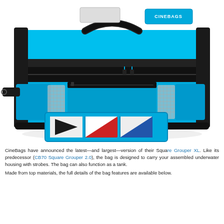[Figure (photo): A bright blue CineBags Square Grouper XL underwater housing bag with black straps and zippers, mesh side panels, and a luggage tag showing nautical/dive flag symbols in red, white, and blue. The bag is photographed against a white background from a front-angle view.]
CineBags have announced the latest—and largest—version of their Square Grouper XL. Like its predecessor (CB70 Square Grouper 2.0), the bag is designed to carry your assembled underwater housing with strobes. The bag can also function as a tank.
Made from top materials, the full details of the bag features are available below.